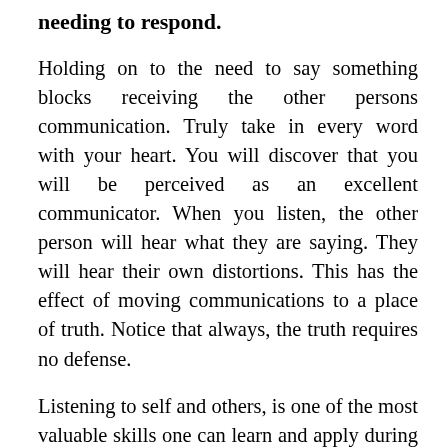needing to respond.
Holding on to the need to say something blocks receiving the other persons communication. Truly take in every word with your heart. You will discover that you will be perceived as an excellent communicator. When you listen, the other person will hear what they are saying. They will hear their own distortions. This has the effect of moving communications to a place of truth. Notice that always, the truth requires no defense.
Listening to self and others, is one of the most valuable skills one can learn and apply during a lifetime. This is more than a rational process of data collection and information processing.